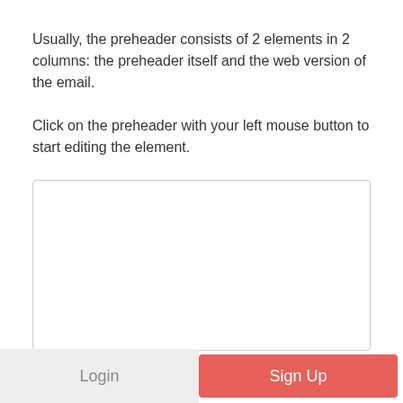Usually, the preheader consists of 2 elements in 2 columns: the preheader itself and the web version of the email.
Click on the preheader with your left mouse button to start editing the element.
[Figure (other): Empty white rectangular box with light gray border]
Login
Sign Up